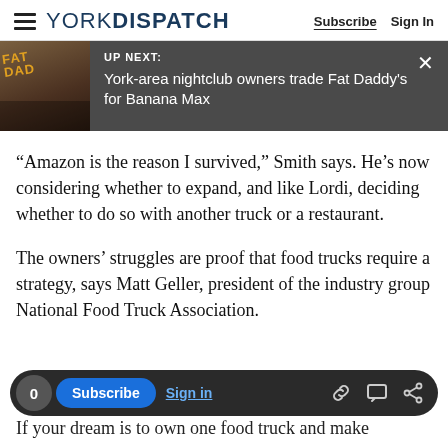YORK DISPATCH   Subscribe   Sign In
[Figure (screenshot): UP NEXT banner with thumbnail image of Fat Daddy's building and text: 'York-area nightclub owners trade Fat Daddy's for Banana Max']
“Amazon is the reason I survived,” Smith says. He’s now considering whether to expand, and like Lordi, deciding whether to do so with another truck or a restaurant.
The owners’ struggles are proof that food trucks require a strategy, says Matt Geller, president of the industry group National Food Truck Association.
[Figure (screenshot): Bottom toolbar with: 0 count, Subscribe button (blue), Sign in link, and icons for link, comment, and share]
If your dream is to own one food truck and make